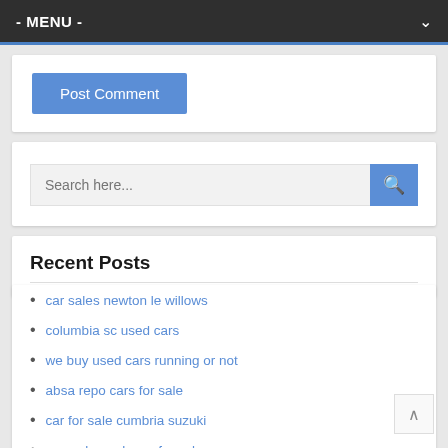- MENU -
Post Comment
[Figure (screenshot): Search input field with placeholder text 'Search here...' and a blue search button with magnifying glass icon]
Recent Posts
car sales newton le willows
columbia sc used cars
we buy used cars running or not
absa repo cars for sale
car for sale cumbria suzuki
www.uk used cars for sale